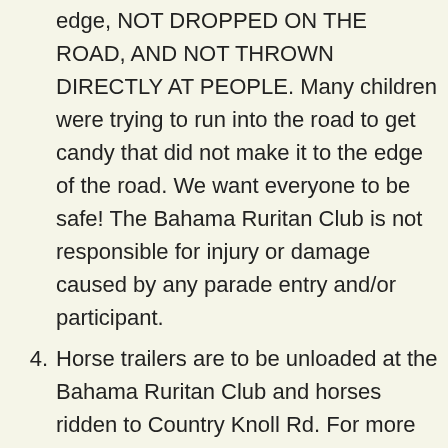(continuation) edge, NOT DROPPED ON THE ROAD, AND NOT THROWN DIRECTLY AT PEOPLE. Many children were trying to run into the road to get candy that did not make it to the edge of the road. We want everyone to be safe! The Bahama Ruritan Club is not responsible for injury or damage caused by any parade entry and/or participant.
4. Horse trailers are to be unloaded at the Bahama Ruritan Club and horses ridden to Country Knoll Rd. For more information on horses, please contact Ron at (919) 479-1800 – (I work all day so I will get back to you as soon as I can)
5. Trophies will be given to HOMEMADE floats,